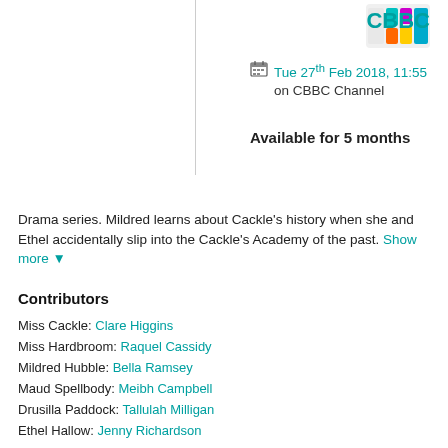[Figure (logo): CBBC logo image with colorful shapes]
CBBC
Tue 27th Feb 2018, 11:55 on CBBC Channel
Available for 5 months
Drama series. Mildred learns about Cackle's history when she and Ethel accidentally slip into the Cackle's Academy of the past. Show more
Contributors
Miss Cackle: Clare Higgins
Miss Hardbroom: Raquel Cassidy
Mildred Hubble: Bella Ramsey
Maud Spellbody: Meibh Campbell
Drusilla Paddock: Tallulah Milligan
Ethel Hallow: Jenny Richardson